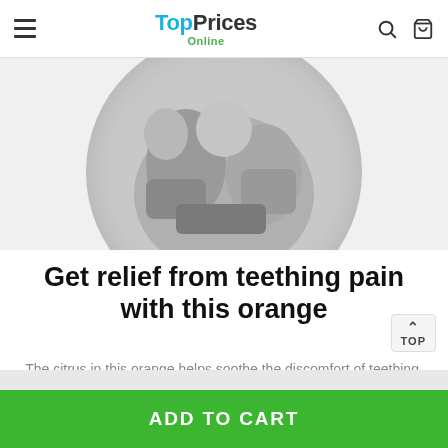TopPrices Online
[Figure (photo): Black and white circular photo of a baby being held, teething or chewing on something]
Get relief from teething pain with this orange
The citrus in this orange helps soothe the discomfort of teething. Bite into it to get relief for your child.
TOP